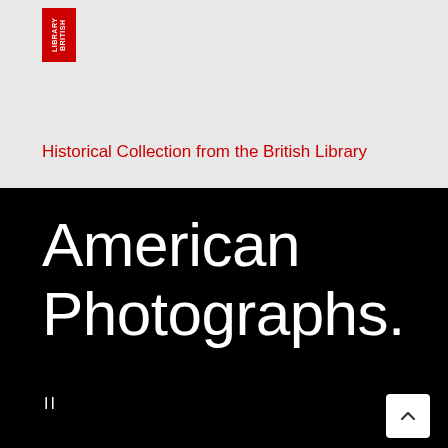[Figure (logo): British Library logo — red rectangle with white vertical text reading BRITISH LIBRARY]
Historical Collection from the British Library
American Photographs.
II